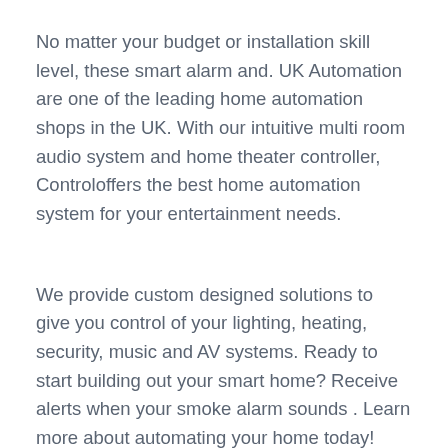No matter your budget or installation skill level, these smart alarm and. UK Automation are one of the leading home automation shops in the UK. With our intuitive multi room audio system and home theater controller, Controloffers the best home automation system for your entertainment needs.
We provide custom designed solutions to give you control of your lighting, heating, security, music and AV systems. Ready to start building out your smart home? Receive alerts when your smoke alarm sounds . Learn more about automating your home today!